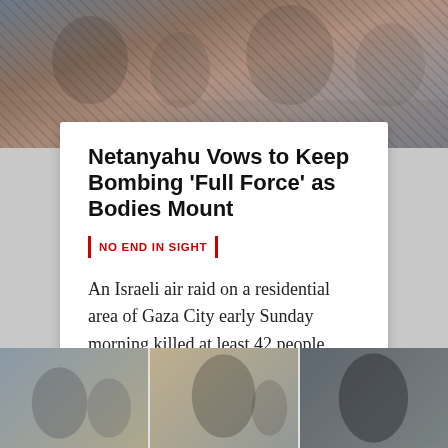[Figure (photo): News article page screenshot showing people in distress near rubble, top photo]
Netanyahu Vows to Keep Bombing 'Full Force' as Bodies Mount
NO END IN SIGHT
An Israeli air raid on a residential area of Gaza City early Sunday morning killed at least 42 people, marking the deadliest attack since the 2014 war.
RACHEL OLDING, MCCAFFREY BLAUNER
[Figure (photo): Bottom photo showing people on a street, three-panel layout]